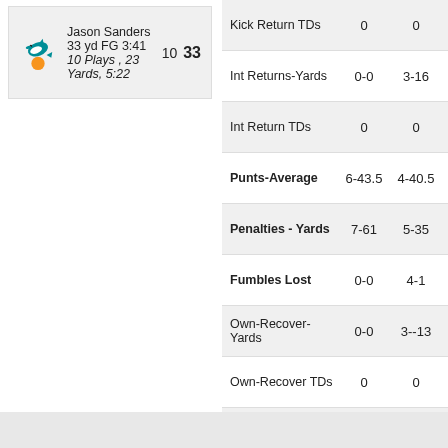Jason Sanders 33 yd FG 3:41  10  33  10 Plays , 23 Yards, 5:22
| Stat | Team1 | Team2 |
| --- | --- | --- |
| Kick Return TDs | 0 | 0 |
| Int Returns-Yards | 0-0 | 3-16 |
| Int Return TDs | 0 | 0 |
| Punts-Average | 6-43.5 | 4-40.5 |
| Penalties - Yards | 7-61 | 5-35 |
| Fumbles Lost | 0-0 | 4-1 |
| Own-Recover-Yards | 0-0 | 3--13 |
| Own-Recover TDs | 0 | 0 |
| Opp-Recover-Yards | 1-28 | 0-0 |